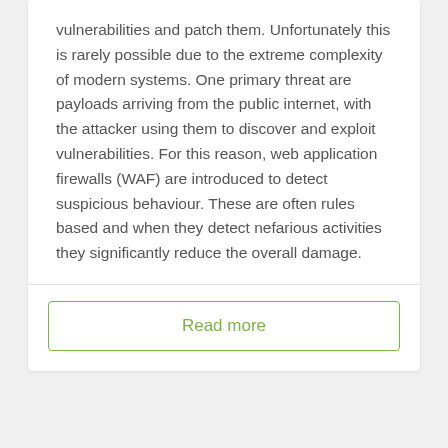vulnerabilities and patch them. Unfortunately this is rarely possible due to the extreme complexity of modern systems. One primary threat are payloads arriving from the public internet, with the attacker using them to discover and exploit vulnerabilities. For this reason, web application firewalls (WAF) are introduced to detect suspicious behaviour. These are often rules based and when they detect nefarious activities they significantly reduce the overall damage.
Read more